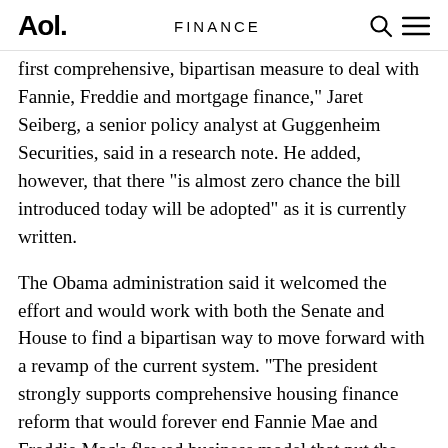Aol. | FINANCE
first comprehensive, bipartisan measure to deal with Fannie, Freddie and mortgage finance," Jaret Seiberg, a senior policy analyst at Guggenheim Securities, said in a research note. He added, however, that there "is almost zero chance the bill introduced today will be adopted" as it is currently written.
The Obama administration said it welcomed the effort and would work with both the Senate and House to find a bipartisan way to move forward with a revamp of the current system. "The president strongly supports comprehensive housing finance reform that would forever end Fannie Mae and Freddie Mac's flawed business model that put the American taxpayers on the hook," said White House spokeswoman Amy Brundage.